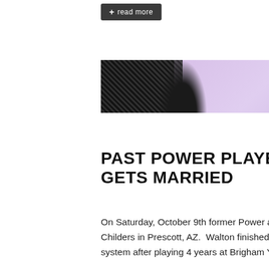[Figure (screenshot): A dark button with '+ read more' text on a white background]
[Figure (photo): A cropped photo showing what appears to be a lavender/purple fabric or dress with a decorative sequined or patterned element on the left side]
PAST POWER PLAYER KENT WALTON GETS MARRIED
On Saturday, October 9th former Power all-star and team captain Kent Walton married Ashley Childers in Prescott, AZ.  Walton finished his second season in the Oakland A's minor league system after playing 4 years at Brigham Young